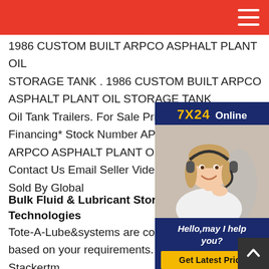1986 CUSTOM BUILT ARPCO ASPHALT PLANT OIL STORAGE TANK . 1986 CUSTOM BUILT ARPCO ASPHALT PLANT OIL STORAGE TANK Oil Tank Trailers. For Sale Price USD $37 Financing* Stock Number AP31 VIN 05 ARPCO ASPHALT PLANT OIL STORAG Contact Us Email Seller Video Chat +1 8 Sold By Global
[Figure (other): Customer service chat widget showing '7X24 Online' header, photo of woman with headset, 'Hello, may I help you?' text, and 'Get Latest Price' button]
Bulk Fluid & Lubricant Storage - Lubri Technologies
Tote-A-Lube&systems are completely customizable based on your requirements. Fluidall's Wall-Stackertm Oil Tank and Fluid Storage Systems process with patented poly tank solutions that make storing an